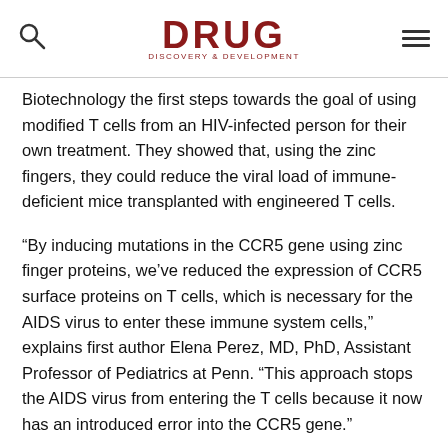DRUG DISCOVERY & DEVELOPMENT
Biotechnology the first steps towards the goal of using modified T cells from an HIV-infected person for their own treatment. They showed that, using the zinc fingers, they could reduce the viral load of immune-deficient mice transplanted with engineered T cells.
“By inducing mutations in the CCR5 gene using zinc finger proteins, we’ve reduced the expression of CCR5 surface proteins on T cells, which is necessary for the AIDS virus to enter these immune system cells,” explains first author Elena Perez, MD, PhD, Assistant Professor of Pediatrics at Penn. “This approach stops the AIDS virus from entering the T cells because it now has an introduced error into the CCR5 gene.”
Some people are born with a mutation on their CCR5 gene and therefore do not have a working CCR5 receptor on the surface of their T cells. These rare individuals are immune to HIV infection